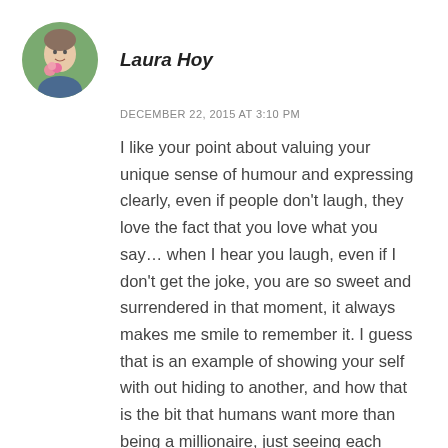[Figure (photo): Circular avatar photo of Laura Hoy, a woman with pink flowers]
Laura Hoy
DECEMBER 22, 2015 AT 3:10 PM
I like your point about valuing your unique sense of humour and expressing clearly, even if people don't laugh, they love the fact that you love what you say… when I hear you laugh, even if I don't get the joke, you are so sweet and surrendered in that moment, it always makes me smile to remember it. I guess that is an example of showing your self with out hiding to another, and how that is the bit that humans want more than being a millionaire, just seeing each other being ourselves. These are definitely the moments that make my day.